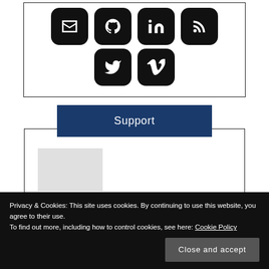[Figure (other): Grid of social media icon buttons (email, GitHub, LinkedIn, RSS, Twitter, Vimeo) — dark rounded square buttons with white icons]
Support
[Figure (other): A light grey placeholder rectangle inside a bordered support section box]
Privacy & Cookies: This site uses cookies. By continuing to use this website, you agree to their use.
To find out more, including how to control cookies, see here: Cookie Policy
Close and accept